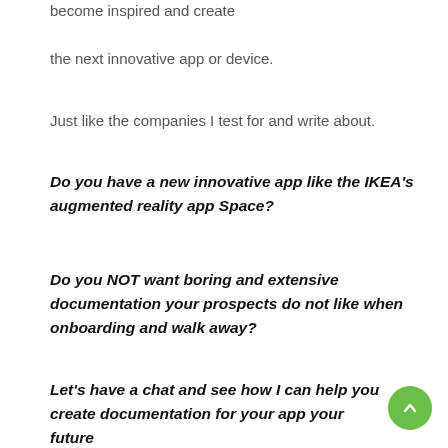become inspired and create
the next innovative app or device.
Just like the companies I test for and write about.
Do you have a new innovative app like the IKEA's augmented reality app Space?
Do you NOT want boring and extensive documentation your prospects do not like when onboarding and walk away?
Let's have a chat and see how I can help you create documentation for your app your future customers will not dislike.